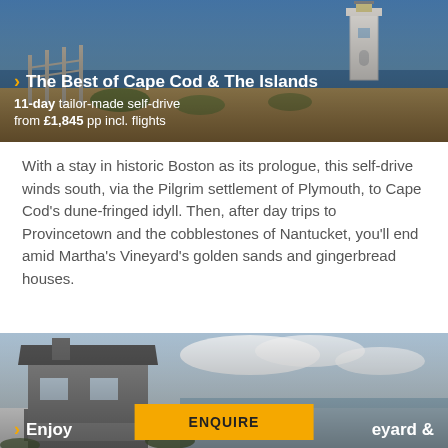[Figure (photo): Coastal scene with a lighthouse on a sandy dune, ocean in background, with a wooden fence walkway.]
The Best of Cape Cod & The Islands
11-day tailor-made self-drive from £1,845 pp incl. flights
With a stay in historic Boston as its prologue, this self-drive winds south, via the Pilgrim settlement of Plymouth, to Cape Cod's dune-fringed idyll. Then, after day trips to Provincetown and the cobblestones of Nantucket, you'll end amid Martha's Vineyard's golden sands and gingerbread houses.
[Figure (photo): Coastal shingle-style house with a porch, cloudy sky and ocean in background.]
Enjoy ... eyard & Nantu...
ENQUIRE